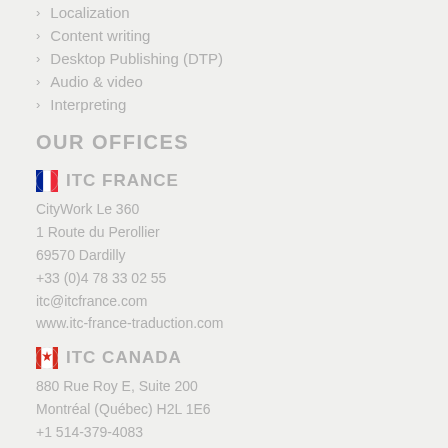Localization
Content writing
Desktop Publishing (DTP)
Audio & video
Interpreting
OUR OFFICES
ITC FRANCE
CityWork Le 360
1 Route du Perollier
69570 Dardilly
+33 (0)4 78 33 02 55
itc@itcfrance.com
www.itc-france-traduction.com
ITC CANADA
880 Rue Roy E, Suite 200
Montréal (Québec) H2L 1E6
+1 514-379-4083